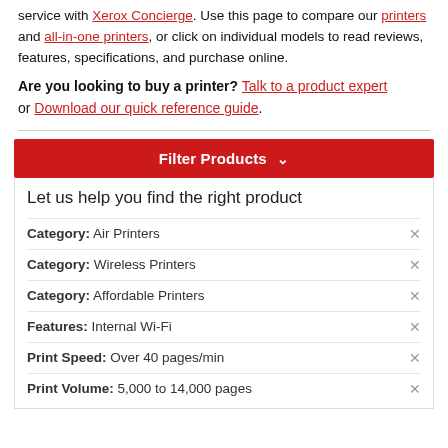service with Xerox Concierge. Use this page to compare our printers and all-in-one printers, or click on individual models to read reviews, features, specifications, and purchase online.
Are you looking to buy a printer? Talk to a product expert or Download our quick reference guide.
Filter Products ∨
Let us help you find the right product
Category: Air Printers
Category: Wireless Printers
Category: Affordable Printers
Features: Internal Wi-Fi
Print Speed: Over 40 pages/min
Print Volume: 5,000 to 14,000 pages